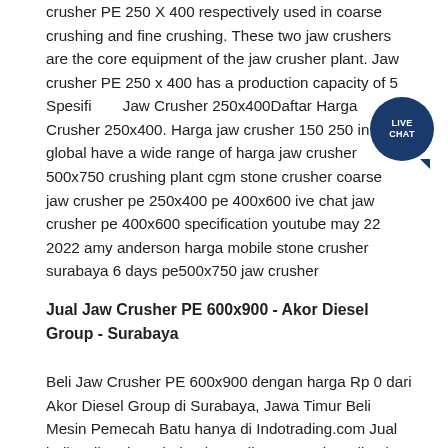crusher PE 250 X 400 respectively used in coarse crushing and fine crushing. These two jaw crushers are the core equipment of the jaw crusher plant. Jaw crusher PE 250 x 400 has a production capacity of 5 Spesifikasi Jaw Crusher 250x400Daftar Harga Crusher 250x400. Harga jaw crusher 150 250 in the global have a wide range of harga jaw crusher 500x750 crushing plant cgm stone crusher coarse jaw crusher pe 250x400 pe 400x600 ive chat jaw crusher pe 400x600 specification youtube may 22 2022 amy anderson harga mobile stone crusher surabaya 6 days pe500x750 jaw crusher
[Figure (other): Live Chat button - dark blue circular chat bubble with LIVE CHAT text in white]
Jual Jaw Crusher PE 600x900 - Akor Diesel Group - Surabaya
Beli Jaw Crusher PE 600x900 dengan harga Rp 0 dari Akor Diesel Group di Surabaya, Jawa Timur Beli Mesin Pemecah Batu hanya di Indotrading.com Jual beli Online dan Direktori Supplier B2B Indotrading jaw crusher pe